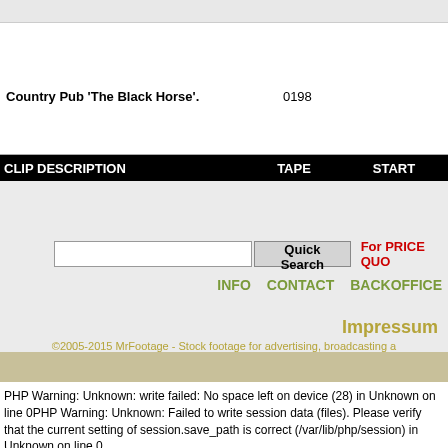Country Pub 'The Black Horse'.    0198
| CLIP DESCRIPTION | TAPE | START |
| --- | --- | --- |
Quick Search   For PRICE QUO...
INFO   CONTACT   BACKOFFICE
Impressum
©2005-2015 MrFootage - Stock footage for advertising, broadcasting a...
PHP Warning: Unknown: write failed: No space left on device (28) in Unknown on line 0PHP Warning: Unknown: Failed to write session data (files). Please verify that the current setting of session.save_path is correct (/var/lib/php/session) in Unknown on line 0